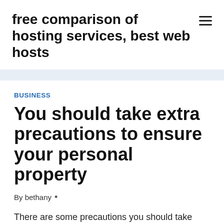free comparison of hosting services, best web hosts
BUSINESS
You should take extra precautions to ensure your personal property
By bethany •
There are some precautions you should take before you travel the Bahamas. A COVID-19 test and a health visa are required. The COVID-19